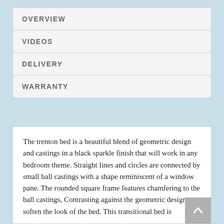OVERVIEW
VIDEOS
DELIVERY
WARRANTY
The trenton bed is a beautiful blend of geometric design and castings in a black sparkle finish that will work in any bedroom theme. Straight lines and circles are connected by small ball castings with a shape reminiscent of a window pane. The rounded square frame features chamfering to the ball castings, Contrasting against the geometric design to soften the look of the bed. This transitional bed is